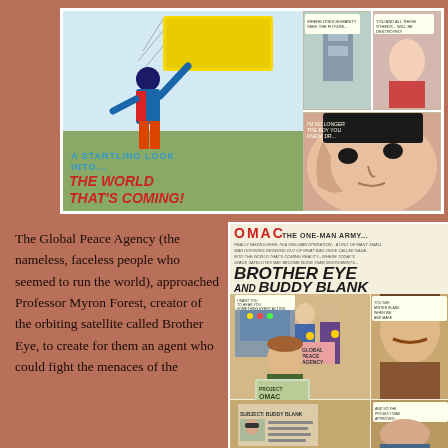[Figure (illustration): Top comic book spread showing OMAC superhero with 'A STARTLING LOOK INTO...THE WORLD THAT'S COMING!' text and comic panels on the right side with action scenes]
The Global Peace Agency (the nameless, faceless people who seemed to run the world), approached Professor Myron Forest, creator of the orbiting satellite called Brother Eye, to create for them an agent who could fight the menaces of the
[Figure (illustration): OMAC comic book interior page showing 'OMAC THE ONE-MAN ARMY... BROTHER EYE and BUDDY BLANK' title with comic panels showing characters including Project OMAC folder and Subject Buddy Blank]